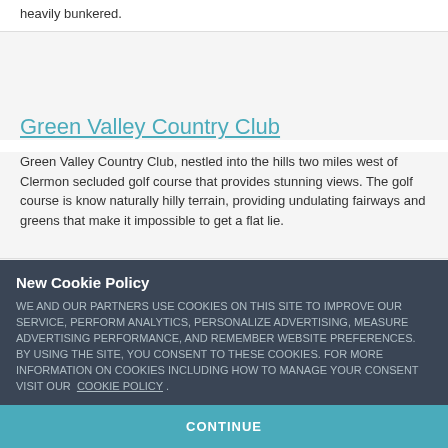heavily bunkered.
Green Valley Country Club
Green Valley Country Club, nestled into the hills two miles west of Clermont, secluded golf course that provides stunning views. The golf course is known for naturally hilly terrain, providing undulating fairways and greens that make it impossible to get a flat lie.
New Cookie Policy
WE AND OUR PARTNERS USE COOKIES ON THIS SITE TO IMPROVE OUR SERVICE, PERFORM ANALYTICS, PERSONALIZE ADVERTISING, MEASURE ADVERTISING PERFORMANCE, AND REMEMBER WEBSITE PREFERENCES. BY USING THE SITE, YOU CONSENT TO THESE COOKIES. FOR MORE INFORMATION ON COOKIES INCLUDING HOW TO MANAGE YOUR CONSENT VISIT OUR COOKIE POLICY .
CONTINUE